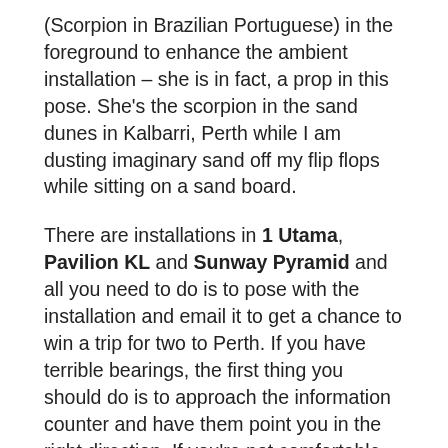(Scorpion in Brazilian Portuguese) in the foreground to enhance the ambient installation – she is in fact, a prop in this pose. She's the scorpion in the sand dunes in Kalbarri, Perth while I am dusting imaginary sand off my flip flops while sitting on a sand board.
There are installations in 1 Utama, Pavilion KL and Sunway Pyramid and all you need to do is to pose with the installation and email it to get a chance to win a trip for two to Perth. If you have terrible bearings, the first thing you should do is to approach the information counter and have them point you in the right direction. If you're not comfortable with posing in public spaces, hey, be like Nike and Just Do It. I guarantee you there will be people looking and wanting a piece of the action once you get started.